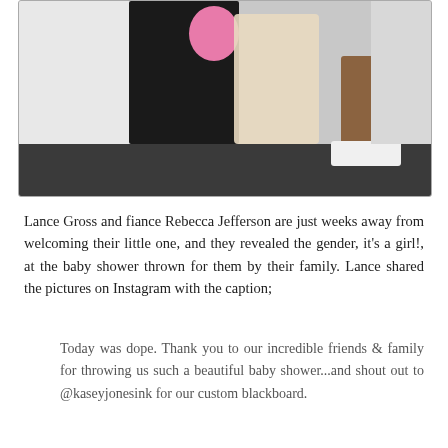[Figure (photo): A photo showing the lower half of two people at a baby shower — one wearing a floral/lace dress and the other in brown pants with white sneakers. A black custom blackboard and a pink balloon are visible in the background.]
Lance Gross and fiance Rebecca Jefferson are just weeks away from welcoming their little one, and they revealed the gender, it's a girl!, at the baby shower thrown for them by their family. Lance shared the pictures on Instagram with the caption;
Today was dope. Thank you to our incredible friends & family for throwing us such a beautiful baby shower...and shout out to @kaseyjonesink for our custom blackboard.